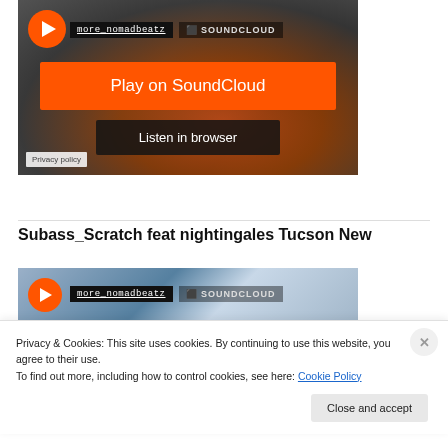[Figure (screenshot): SoundCloud embedded player with orange 'Play on SoundCloud' button and 'Listen in browser' button, showing more_nomadbeatz label and dark background with fire/smoke imagery. Privacy policy label in bottom left.]
Subass_Scratch feat nightingales Tucson New
[Figure (screenshot): SoundCloud embedded player showing more_nomadbeatz and SOUNDCLOUD label, partially visible with blue/grey background imagery.]
Privacy & Cookies: This site uses cookies. By continuing to use this website, you agree to their use.
To find out more, including how to control cookies, see here: Cookie Policy
Close and accept